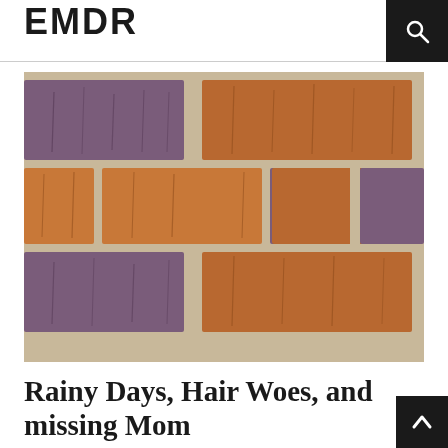EMDR
[Figure (photo): Close-up photograph of a decorative brick wall showing alternating purple/grey and orange/brown colored bricks in a running bond pattern with sandy mortar joints]
Rainy Days, Hair Woes, and missing Mom